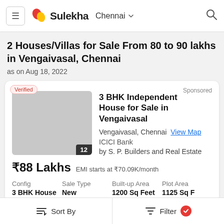Sulekha  Chennai
2 Houses/Villas for Sale From 80 to 90 lakhs in Vengaivasal, Chennai
as on Aug 18, 2022
Sponsored
3 BHK Independent House for Sale in Vengaivasal
Vengaivasal, Chennai  View Map
ICICI Bank
by S. P. Builders and Real Estate
₹88 Lakhs  EMI starts at ₹70.09K/month
| Config | Sale Type | Built-up Area | Plot Area |
| --- | --- | --- | --- |
| 3 BHK House | New | 1200 Sq Feet | 1125 Sq F |
Sort By   Filter